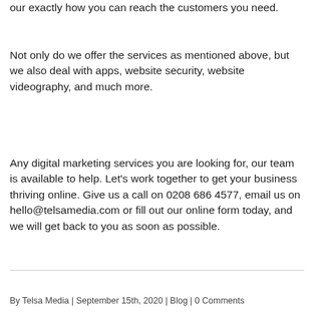our exactly how you can reach the customers you need.
Not only do we offer the services as mentioned above, but we also deal with apps, website security, website videography, and much more.
Any digital marketing services you are looking for, our team is available to help. Let’s work together to get your business thriving online. Give us a call on 0208 686 4577, email us on hello@telsamedia.com or fill out our online form today, and we will get back to you as soon as possible.
By Telsa Media | September 15th, 2020 | Blog | 0 Comments